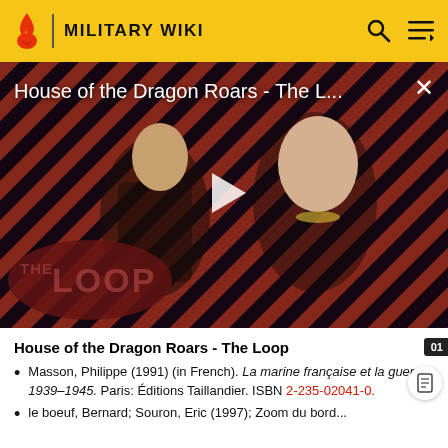MILITARY WIKI
[Figure (screenshot): Video thumbnail showing House of the Dragon characters with diagonal stripe background and THE LOOP logo overlay. Title reads 'House of the Dragon Roars - The L...' with a play button in the center.]
House of the Dragon Roars - The Loop
Masson, Philippe (1991) (in French). La marine française et la guerre 1939–1945. Paris: Éditions Taillandier. ISBN 2-235-02041-0.
le boeuf, Bernard; Souron, Eric (1997); Zoom du bord...